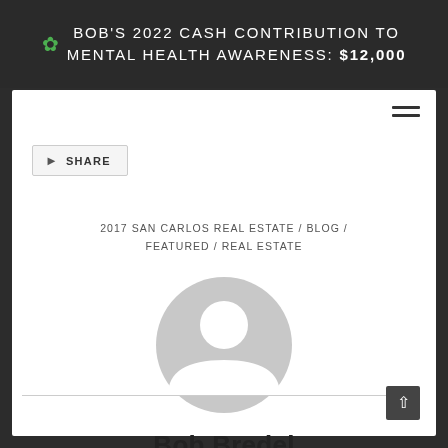BOB'S 2022 CASH CONTRIBUTION TO MENTAL HEALTH AWARENESS: $12,000
SHARE
2017 SAN CARLOS REAL ESTATE / BLOG / FEATURED / REAL ESTATE
[Figure (illustration): Generic user avatar placeholder - grey circle with person silhouette]
Bob Bredel